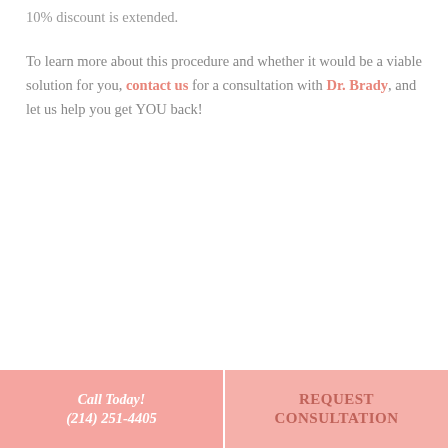10% discount is extended.
To learn more about this procedure and whether it would be a viable solution for you, contact us for a consultation with Dr. Brady, and let us help you get YOU back!
Call Today! (214) 251-4405 | REQUEST CONSULTATION